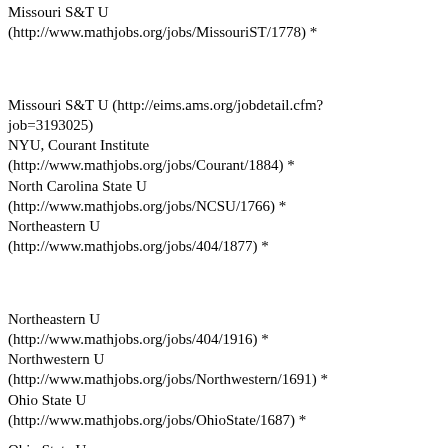Missouri S&T U (http://www.mathjobs.org/jobs/MissouriST/1778) *	applied (2)	D
Missouri S&T U (http://eims.ams.org/jobdetail.cfm?job=3193025)	stat	D
NYU, Courant Institute (http://www.mathjobs.org/jobs/Courant/1884) *	stat/comp (p)	D
North Carolina State U (http://www.mathjobs.org/jobs/NCSU/1766) *	analysis	D
Northeastern U (http://www.mathjobs.org/jobs/404/1877) *	all math	N
Northeastern U (http://www.mathjobs.org/jobs/404/1916) *	math/cs (t)	N
Northwestern U (http://www.mathjobs.org/jobs/Northwestern/1691) *	all math	N
Ohio State U (http://www.mathjobs.org/jobs/OhioState/1687) *	all math	N
Ohio State U (http://www.mathjobs.org/jobs/MBio/1848) *	biomath	N